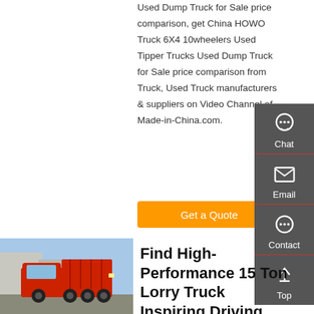Used Dump Truck for Sale price comparison, get China HOWO Truck 6X4 10wheelers Used Tipper Trucks Used Dump Truck for Sale price comparison from Truck, Used Truck manufacturers & suppliers on Video Channel of Made-in-China.com.
Get a Quote
[Figure (photo): Red HOWO dump truck parked outdoors with industrial building in background]
Find High-Performance 15 Ton Lorry Truck Inspiring Driving